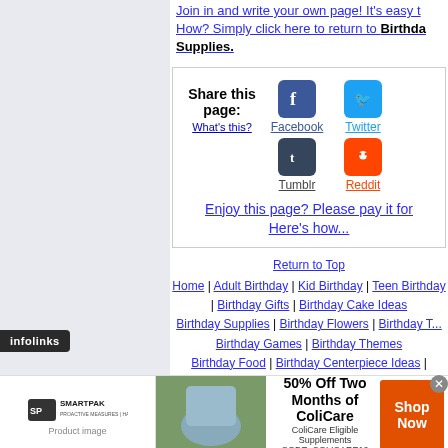Join in and write your own page! It's easy to How? Simply click here to return to Birthday Supplies.
[Figure (infographic): Share this page social media buttons: Facebook, Twitter, Tumblr, Reddit icons with links. Text: Share this page: What's this?]
Enjoy this page? Please pay it for Here's how...
Return to Top Home | Adult Birthday | Kid Birthday | Teen Birthday | Birthday Gifts | Birthday Cake Ideas | Birthday Supplies | Birthday Flowers | Birthday T... Birthday Games | Birthday Themes Birthday Food | Birthday Centerpiece Ideas | Birthd... Birthday Balloons
[Figure (infographic): SmartPak advertisement banner: 50% Off Two Months of ColiCare. ColiCare Eligible Supplements. CODE: COLICARE10. Shop Now button.]